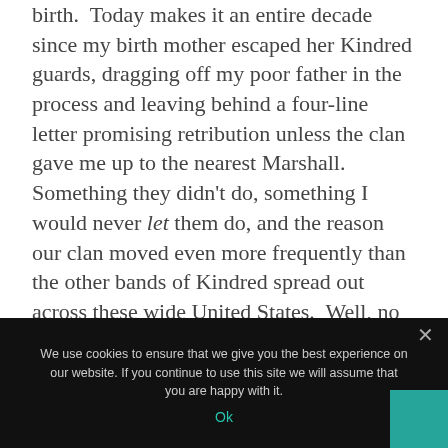birth.  Today makes it an entire decade since my birth mother escaped her Kindred guards, dragging off my poor father in the process and leaving behind a four-line letter promising retribution unless the clan gave me up to the nearest Marshall.  Something they didn't do, something I would never let them do, and the reason our clan moved even more frequently than the other bands of Kindred spread out across these wide United States.  Well, no longer quite so united as the Ageless witches would have us believe.
We use cookies to ensure that we give you the best experience on our website. If you continue to use this site we will assume that you are happy with it.
Ok